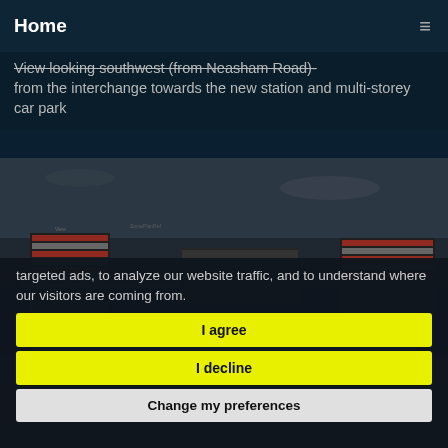Home
View looking southwest (from Neasham Road)- from the interchange towards the new station and multi-storey car park
[Figure (photo): Architectural rendering/visualization of a new railway station and multi-storey car park viewed from Neasham Road looking southwest, showing red-accented structures in a dark-toned image]
targeted ads, to analyze our website traffic, and to understand where our visitors are coming from.
I agree
I decline
Change my preferences